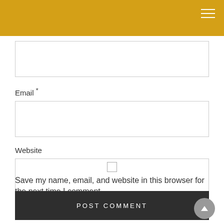[Figure (other): Golden/yellow header navigation bar with hamburger menu icon (three horizontal lines) in top right corner]
Email *
Website
Save my name, email, and website in this browser for the next time I comment.
POST COMMENT